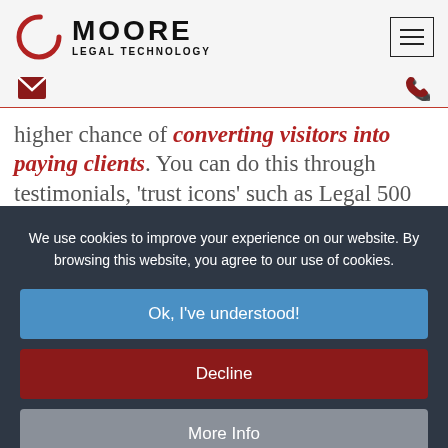[Figure (logo): Moore Legal Technology logo with circular red icon and bold text]
[Figure (other): Hamburger menu icon (three horizontal lines in a rectangle)]
[Figure (other): Red envelope icon and red phone icon in the navigation icon bar]
higher chance of converting visitors into paying clients. You can do this through testimonials, 'trust icons' such as Legal 500 or Chambers and...
We use cookies to improve your experience on our website. By browsing this website, you agree to our use of cookies.
Ok, I've understood!
Decline
More Info